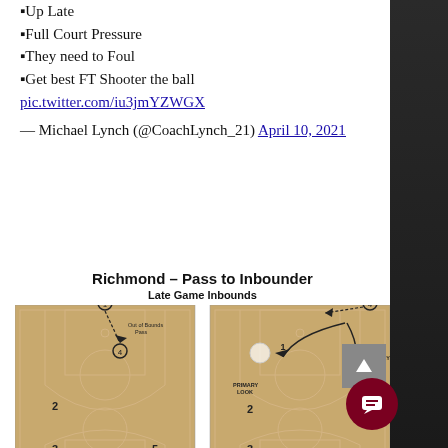▪Up Late
▪Full Court Pressure
▪They need to Foul
▪Get best FT Shooter the ball
pic.twitter.com/iu3jmYZWGX
— Michael Lynch (@CoachLynch_21) April 10, 2021
Richmond – Pass to Inbounder
Late Game Inbounds
[Figure (illustration): Basketball play diagram showing 'Richmond - Pass to Inbounder' late game inbounds play. Two half-court diagrams side by side. Left diagram shows players numbered 1, 2, 3, 4, 5 with player 1 out of bounds passing to player 4 near the top of the key area, labeled 'Out of Bounds Pass'. Right diagram shows player 4 out of bounds passing options: primary look to player 1 on the wing and secondary look to another player on the right side with player 2 at mid-post and player 3 at the bottom.]